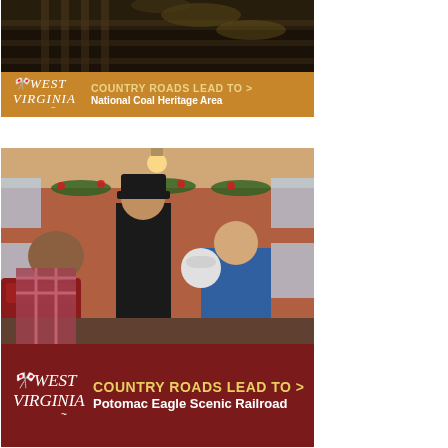[Figure (photo): Photo of a train interior or coal heritage area with steps/railing visible, followed by an orange banner reading 'WEST VIRGINIA COUNTRY ROADS LEAD TO > National Coal Heritage Area']
[Figure (photo): Photo of inside a holiday-decorated train car with a conductor in a black hat and coat interacting with seated passengers. Followed by a dark red banner reading 'WEST VIRGINIA COUNTRY ROADS LEAD TO > Potomac Eagle Scenic Railroad']